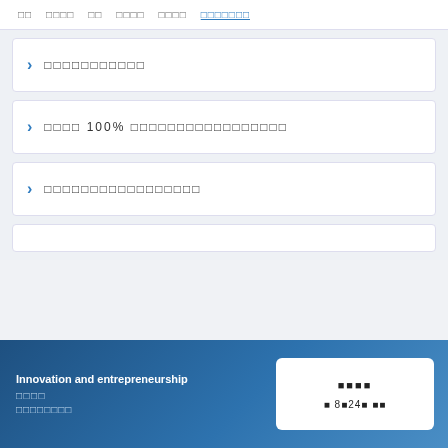□□  □□□□  □□  □□□□  □□□□  □□□□□□□
□□□□□□□□□□□
□□□□ 100% □□□□□□□□□□□□□□□□□
□□□□□□□□□□□□□□□□□
[Figure (other): Partial card at bottom]
Innovation and entrepreneurship □□□□ □□□□□□□□ | □□□□ □ 8□24□ □□